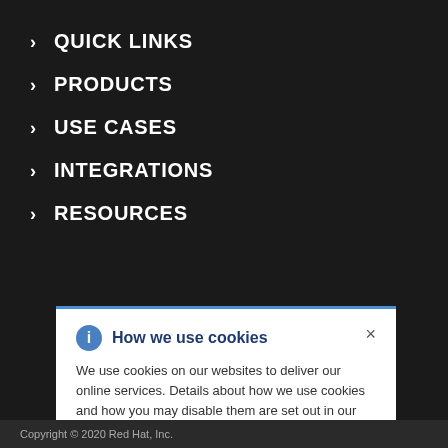> QUICK LINKS
> PRODUCTS
> USE CASES
> INTEGRATIONS
> RESOURCES
How we use cookies
We use cookies on our websites to deliver our online services. Details about how we use cookies and how you may disable them are set out in our Privacy Statement. By using this website you agree to our use of cookies.
Copyright © 2020 Red Hat, Inc.